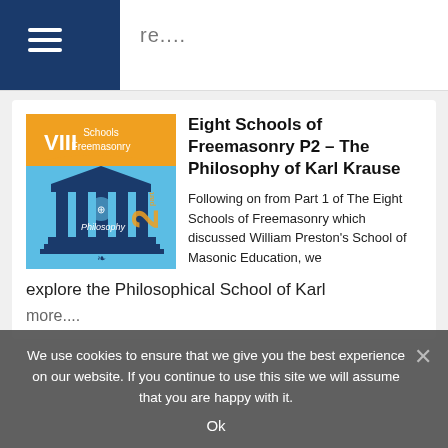re....
[Figure (illustration): Podcast episode thumbnail: orange and blue graphic with text 'VIII Schools Freemasonry', a Masonic temple with columns, 'Philosophy' label, and 'part 2' text]
Eight Schools of Freemasonry P2 – The Philosophy of Karl Krause
Following on from Part 1 of The Eight Schools of Freemasonry which discussed William Preston's School of Masonic Education, we explore the Philosophical School of Karl
more....
We use cookies to ensure that we give you the best experience on our website. If you continue to use this site we will assume that you are happy with it.
Ok